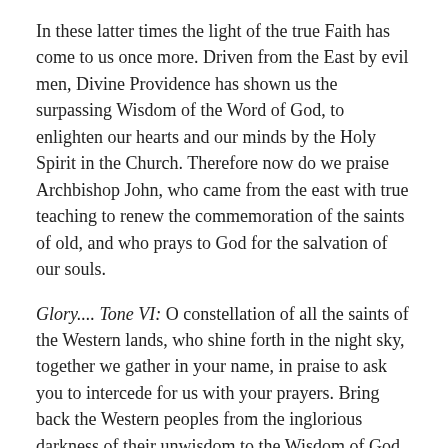In these latter times the light of the true Faith has come to us once more. Driven from the East by evil men, Divine Providence has shown us the surpassing Wisdom of the Word of God, to enlighten our hearts and our minds by the Holy Spirit in the Church. Therefore now do we praise Archbishop John, who came from the east with true teaching to renew the commemoration of the saints of old, and who prays to God for the salvation of our souls.
Glory.... Tone VI: O constellation of all the saints of the Western lands, who shine forth in the night sky, together we gather in your name, in praise to ask you to intercede for us with your prayers. Bring back the Western peoples from the inglorious darkness of their unwisdom to the Wisdom of God, that they may cast aside all the illusions of the fallen reason and know again that the only true glory and enlightenment is in the acquisition of the Holy Spirit.
Readings: Isaiah 43, 9-14; Wisdom 3, 1-9; Wisdom 5, 15 – 6, 3.